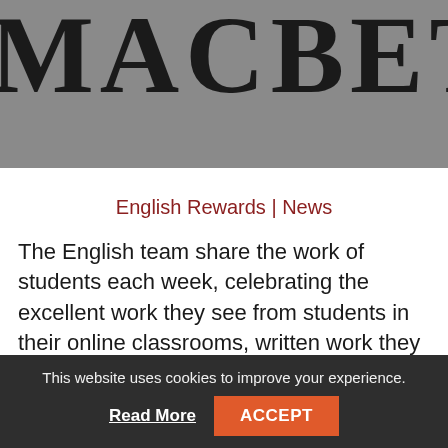[Figure (photo): Gray background with large serif bold text reading 'MACBETH' partially cropped]
English Rewards | News
The English team share the work of students each week, celebrating the excellent work they see from students in their online classrooms, written work they are receiving, and the work of Essential School students on-
This website uses cookies to improve your experience. Read More ACCEPT